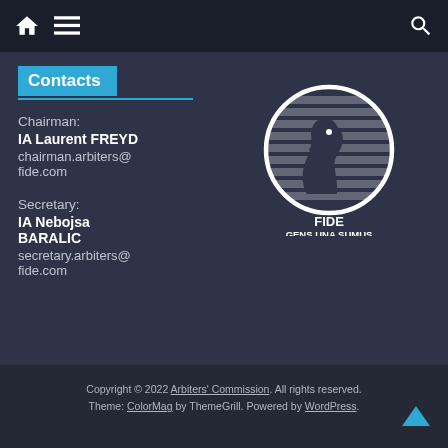Navigation bar with home icon, menu icon, and search icon
Contacts
Chairman:
IA Laurent FREYD
chairman.arbiters@fide.com
Secretary:
IA Nebojsa BARALIC
secretary.arbiters@fide.com
[Figure (logo): FIDE logo — chess knight piece inside a globe, with text FIDE GENS UNA SUMUS]
Copyright © 2022 Arbiters' Commission. All rights reserved. Theme: ColorMag by ThemeGrill. Powered by WordPress.